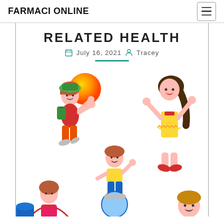FARMACI ONLINE
RELATED HEALTH
July 16, 2021  Tracey
[Figure (illustration): Cartoon children playing — a boy jumping and hitting an orange ball, a girl in yellow dress with arms raised, more children with jump rope and bouncing on a ball, partially cropped at bottom]